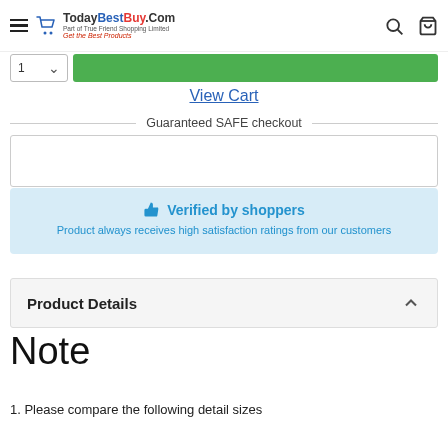TodayBestBuy.Com — Get the Best Products
View Cart
Guaranteed SAFE checkout
👍 Verified by shoppers
Product always receives high satisfaction ratings from our customers
Product Details
Note
1. Please compare the following detail sizes